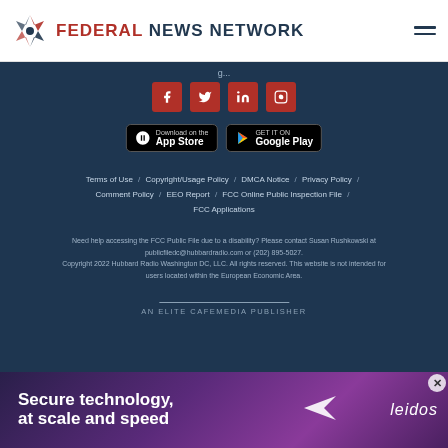Federal News Network
g...
[Figure (logo): Social media icons: Facebook, Twitter, LinkedIn, Instagram — red square buttons]
[Figure (screenshot): App Store and Google Play download buttons]
Terms of Use / Copyright/Usage Policy / DMCA Notice / Privacy Policy / Comment Policy / EEO Report / FCC Online Public Inspection File / FCC Applications
Need help accessing the FCC Public File due to a disability? Please contact Susan Rushkowski at publicfiledc@hubbardradio.com or (202) 895-5027.
Copyright 2022 Hubbard Radio Washington DC, LLC. All rights reserved. This website is not intended for users located within the European Economic Area.
AN ELITE CAFEMEDIA PUBLISHER
[Figure (photo): Leidos advertisement: 'Secure technology, at scale and speed' with paper airplane icon on purple background]